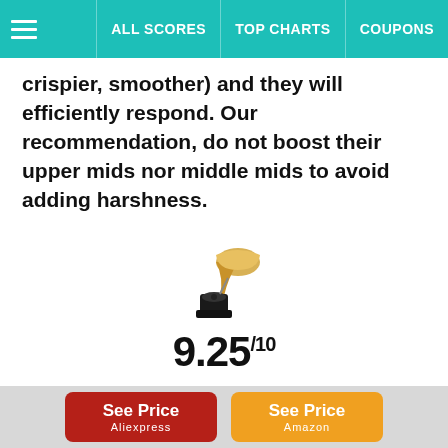ALL SCORES | TOP CHARTS | COUPONS
crispier, smoother) and they will efficiently respond. Our recommendation, do not boost their upper mids nor middle mids to avoid adding harshness.
[Figure (illustration): Gramophone / phonograph icon]
9.25/10
[Figure (infographic): AliExpress advertisement banner: NEW USER GIFTS, Shop US $0.01 deals!]
See Price Aliexpress
See Price Amazon